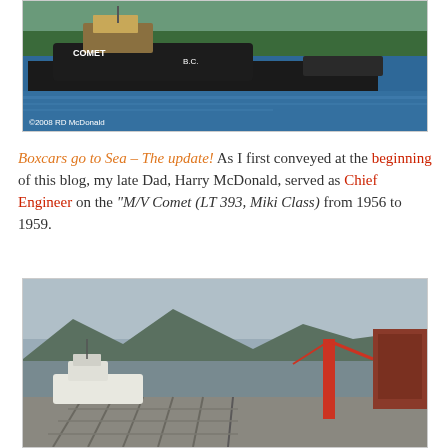[Figure (photo): Photograph of tugboat named 'Comet' on calm water with forested shoreline in background. Copyright watermark reads '©2008 RD McDonald' in lower left.]
Boxcars go to Sea – The update! As I first conveyed at the beginning of this blog, my late Dad, Harry McDonald, served as Chief Engineer on the "M/V Comet (LT 393, Miki Class) from 1956 to 1959.
[Figure (photo): Photograph of a dock/pier with railroad tracks running along it, a tugboat moored alongside, a red crane in the background, and mountains with overcast sky visible across the water.]